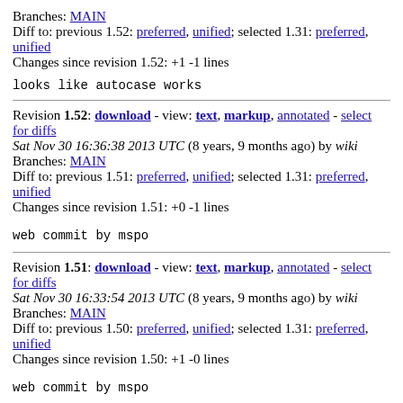Branches: MAIN
Diff to: previous 1.52: preferred, unified; selected 1.31: preferred, unified
Changes since revision 1.52: +1 -1 lines
looks like autocase works
Revision 1.52: download - view: text, markup, annotated - select for diffs
Sat Nov 30 16:36:38 2013 UTC (8 years, 9 months ago) by wiki
Branches: MAIN
Diff to: previous 1.51: preferred, unified; selected 1.31: preferred, unified
Changes since revision 1.51: +0 -1 lines
web commit by mspo
Revision 1.51: download - view: text, markup, annotated - select for diffs
Sat Nov 30 16:33:54 2013 UTC (8 years, 9 months ago) by wiki
Branches: MAIN
Diff to: previous 1.50: preferred, unified; selected 1.31: preferred, unified
Changes since revision 1.50: +1 -0 lines
web commit by mspo